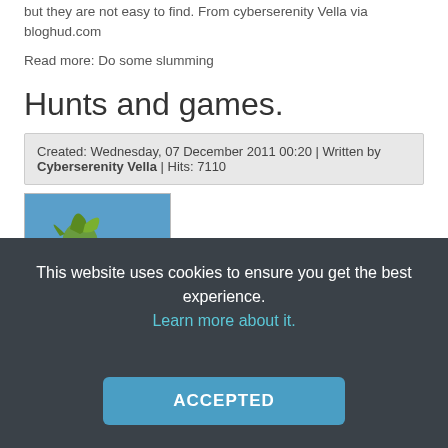but they are not easy to find. From cyberserenity Vella via bloghud.com
Read more: Do some slumming
Hunts and games.
Created: Wednesday, 07 December 2011 00:20 | Written by Cyberserenity Vella | Hits: 7110
[Figure (photo): Screenshot of a virtual world/game scene showing green landscape with a large creature or plant-like figure against a blue sky.]
This website uses cookies to ensure you get the best experience. Learn more about it.
ACCEPTED